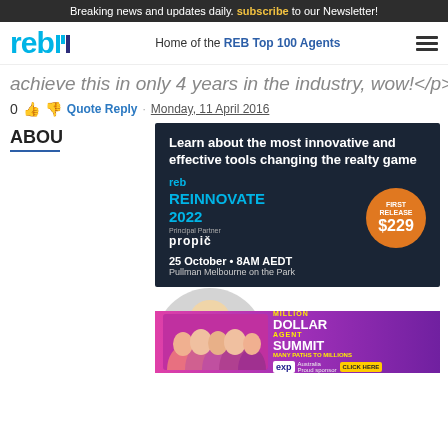Breaking news and updates daily. subscribe to our Newsletter!
[Figure (logo): REB logo - red, blue and dark blue letters 'reb']
Home of the REB Top 100 Agents
achieve this in only 4 years in the industry, wow!</p>
0 Quote Reply · Monday, 11 April 2016
ABOU
[Figure (infographic): REB Reinnovate 2022 advertisement banner. Dark background. Text: Learn about the most innovative and effective tools changing the realty game. reb REINNOVATE 2022. Principal Partner: propiq. FIRST RELEASE $229. 25 October • 8AM AEDT. Pullman Melbourne on the Park.]
[Figure (photo): Smiling blonde woman, profile photo, circular crop on grey background]
[Figure (infographic): Million Dollar Agent Summit 22 - Many Paths to Millions. eXp Australia. Click Here. Pink/purple gradient background with group of people photos.]